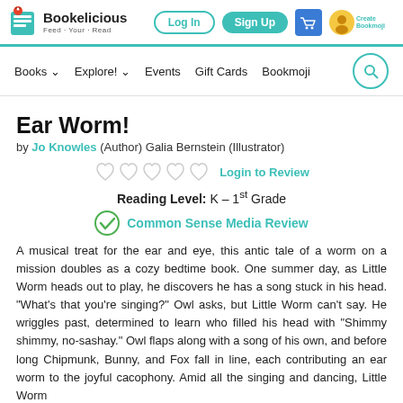Bookelicious Feed · Your · Read — Log In | Sign Up
Books ▾  Explore! ▾  Events  Gift Cards  Bookmoji
Ear Worm!
by Jo Knowles (Author) Galia Bernstein (Illustrator)
Login to Review
Reading Level: K – 1st Grade
Common Sense Media Review
A musical treat for the ear and eye, this antic tale of a worm on a mission doubles as a cozy bedtime book. One summer day, as Little Worm heads out to play, he discovers he has a song stuck in his head. "What's that you're singing?" Owl asks, but Little Worm can't say. He wriggles past, determined to learn who filled his head with "Shimmy shimmy, no-sashay." Owl flaps along with a song of his own, and before long Chipmunk, Bunny, and Fox fall in line, each contributing an ear worm to the joyful cacophony. Amid all the singing and dancing, Little Worm